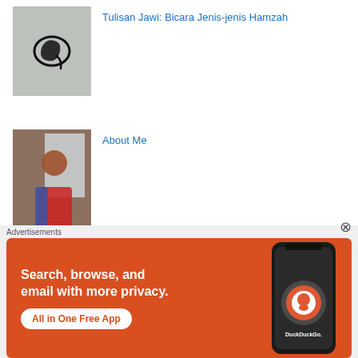Tulisan Jawi: Bicara Jenis-jenis Hamzah
About Me
Apa Nak Bawa ke Pusat Asasi UIAM (CFS IIUM)?
Panduan Pakaian Pusat Asasi UIAM (CFS IIUM)
Advertisements
[Figure (screenshot): DuckDuckGo advertisement banner showing 'Search, browse, and email with more privacy. All in One Free App' with phone image on orange background]